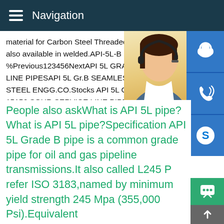Navigation
material for Carbon Steel Threaded Barrel also available in welded.API-5L-B Chemical composition %Previous123456NextAPI 5L GRADE-B LINE PIPESAPI 5L Gr.B SEAMLESS WELDED STEEL ENGG.CO.Stocks API 5L GR.B PSL 15156 SOUR SERVICE LINE PIPES IN INDIA stockist,api steel pipes,api gr b steel pipes api 5l gr b psl2,api 5l gr b specification,api 5l gr b chemical composition,api 5l gr b yield strength,api a106,api 5l gr bm,api 5l
[Figure (photo): Woman with headset customer service representative with contact icons (headset, phone, Skype) and text MANUAL SERVICE QUOTING ORDER Email: bsteel1@163.com]
People also askWhat is API 5L pipe?What is API 5L pipe?Specification API 5L Grade B pipe is a common grade pipe for oil and gas pipeline transmissions.It also called L245 Pipe refer ISO 3183,named by minimum yield strength 245 Mpa (355,000 Psi).Equivalent